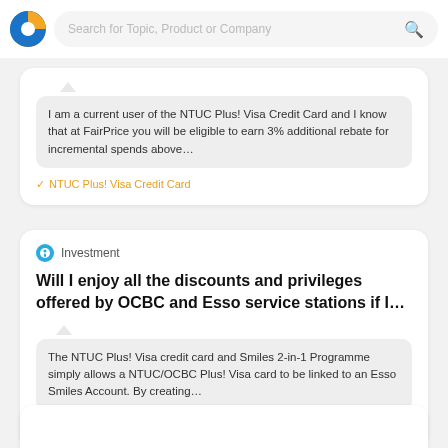Search for Topic, Product or Company
I am a current user of the NTUC Plus! Visa Credit Card and I know that at FairPrice you will be eligible to earn 3% additional rebate for incremental spends above…
✓ NTUC Plus! Visa Credit Card
Investment
Will I enjoy all the discounts and privileges offered by OCBC and Esso service stations if I…
The NTUC Plus! Visa credit card and Smiles 2-in-1 Programme simply allows a NTUC/OCBC Plus! Visa card to be linked to an Esso Smiles Account. By creating…
✓ NTUC Plus! Visa Credit Card